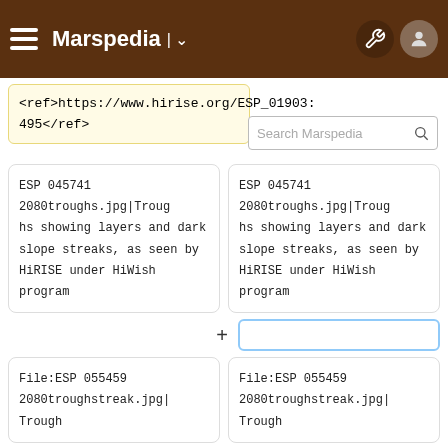Marspedia
<ref>https://www.hirise.org/ESP_01903...495</ref>
ESP 045741 2080troughs.jpg|Troughs showing layers and dark slope streaks, as seen by HiRISE under HiWish program
ESP 045741 2080troughs.jpg|Troughs showing layers and dark slope streaks, as seen by HiRISE under HiWish program
File:ESP 055459 2080troughstreak.jpg|Trough
File:ESP 055459 2080troughstreak.jpg|Trough
File:55459 2080layersclose.jpg|C
File:55459 2080layersclose.jpg|C